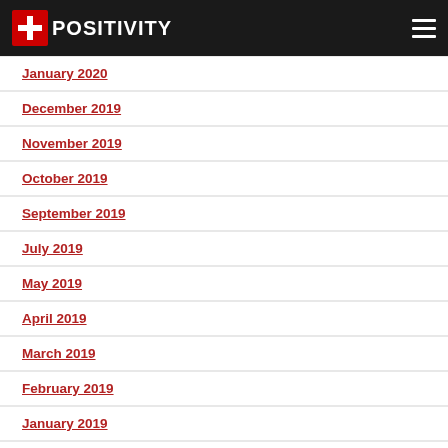#Positivity
January 2020
December 2019
November 2019
October 2019
September 2019
July 2019
May 2019
April 2019
March 2019
February 2019
January 2019
December 2018
November 2018
October 2018
September 2018
August 2018
July 2018